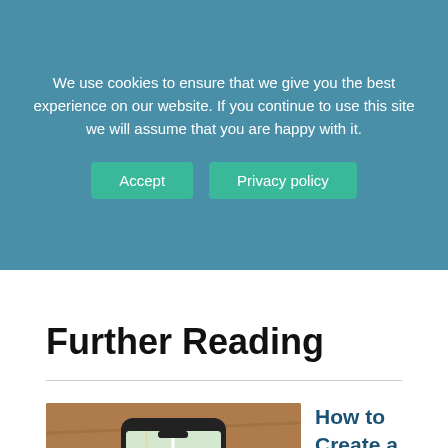We use cookies to ensure that we give you the best experience on our website. If you continue to use this site we will assume that you are happy with it.
Accept | Privacy policy
Further Reading
[Figure (photo): A hand holding a smartphone displaying a Google Maps navigation screen, resting on a wooden surface.]
How to Create a Custom Google Map for Your Business?